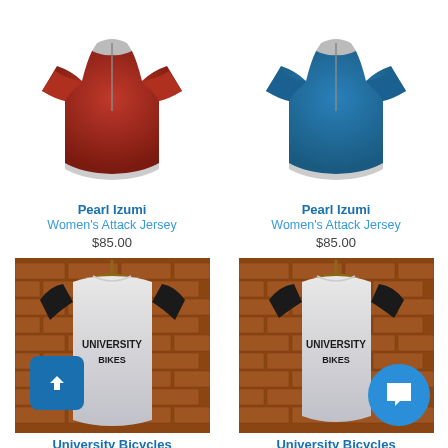[Figure (photo): Red Pearl Izumi Women's Attack Jersey on white background]
Pearl Izumi
Women's Attack Jersey
$85.00
[Figure (photo): Blue Pearl Izumi Women's Attack Jersey on white background]
Pearl Izumi
Women's Attack Jersey
$85.00
[Figure (photo): University Bicycles white and black raglan t-shirt hung on brick wall]
University Bicycles
Men's All Mountain
[Figure (photo): University Bicycles white and black raglan t-shirt hung on brick wall (women's version)]
University Bicycles
Women's All Mountain